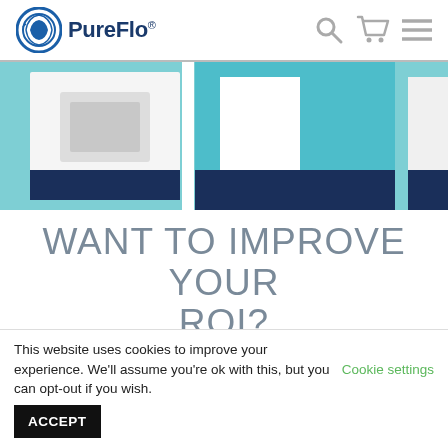[Figure (logo): PureFlo logo with circular icon and bold dark blue text]
[Figure (screenshot): Hero banner image showing head-mounted PAPR equipment in teal/white/navy colors]
WANT TO IMPROVE YOUR ROI?
LOOK NO FURTHER.
PureFlo offers an innovative catalog of head-mounted PAPRs that
This website uses cookies to improve your experience. We'll assume you're ok with this, but you can opt-out if you wish. Cookie settings ACCEPT